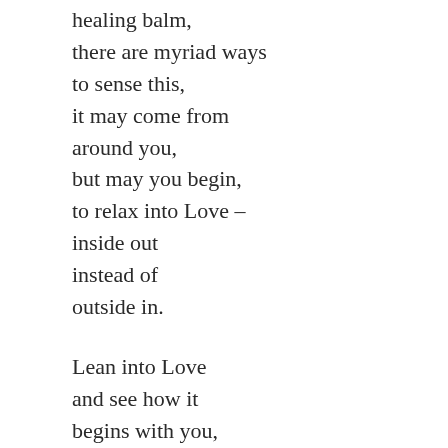healing balm,
there are myriad ways
to sense this,
it may come from
around you,
but may you begin,
to relax into Love –
inside out
instead of
outside in.

Lean into Love
and see how it
begins with you,
there may be a wall
or two
that you realize
you need no longer
do,